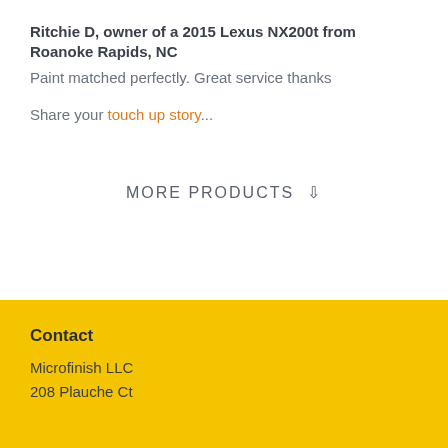Ritchie D, owner of a 2015 Lexus NX200t from Roanoke Rapids, NC
Paint matched perfectly. Great service thanks
Share your touch up story...
MORE PRODUCTS ⇩
Contact
Microfinish LLC
208 Plauche Ct